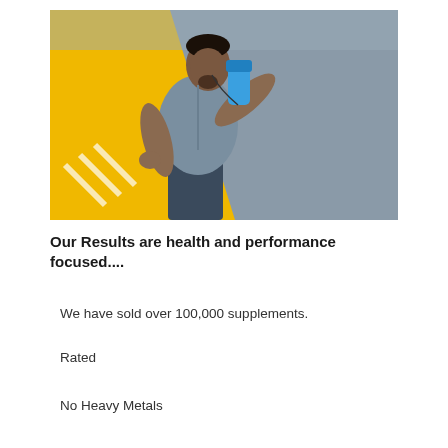[Figure (photo): A muscular man in a grey athletic shirt drinking from a blue sports bottle, standing against a background with yellow diagonal stripe and grey wall.]
Our Results are health and performance focused....
We have sold over 100,000 supplements.
Rated
No Heavy Metals